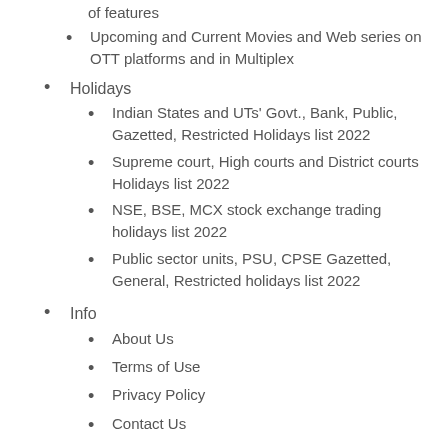of features
Upcoming and Current Movies and Web series on OTT platforms and in Multiplex
Holidays
Indian States and UTs' Govt., Bank, Public, Gazetted, Restricted Holidays list 2022
Supreme court, High courts and District courts Holidays list 2022
NSE, BSE, MCX stock exchange trading holidays list 2022
Public sector units, PSU, CPSE Gazetted, General, Restricted holidays list 2022
Info
About Us
Terms of Use
Privacy Policy
Contact Us